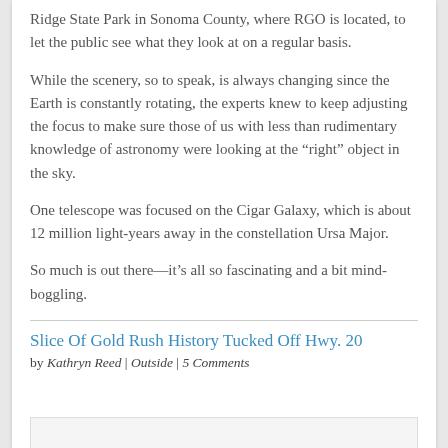Ridge State Park in Sonoma County, where RGO is located, to let the public see what they look at on a regular basis.
While the scenery, so to speak, is always changing since the Earth is constantly rotating, the experts knew to keep adjusting the focus to make sure those of us with less than rudimentary knowledge of astronomy were looking at the “right” object in the sky.
One telescope was focused on the Cigar Galaxy, which is about 12 million light-years away in the constellation Ursa Major.
So much is out there—it’s all so fascinating and a bit mind-boggling.
Slice Of Gold Rush History Tucked Off Hwy. 20
by Kathryn Reed | Outside | 5 Comments